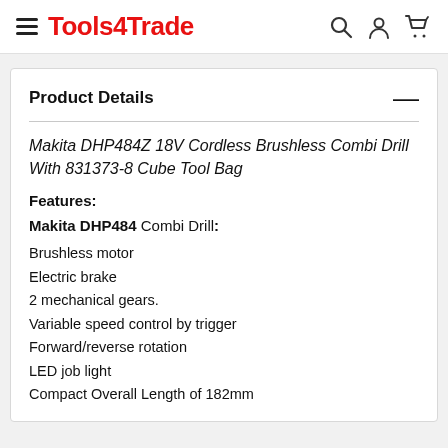Tools4Trade
Product Details
Makita DHP484Z 18V Cordless Brushless Combi Drill With 831373-8 Cube Tool Bag
Features:
Makita DHP484 Combi Drill:
Brushless motor
Electric brake
2 mechanical gears.
Variable speed control by trigger
Forward/reverse rotation
LED job light
Compact Overall Length of 182mm